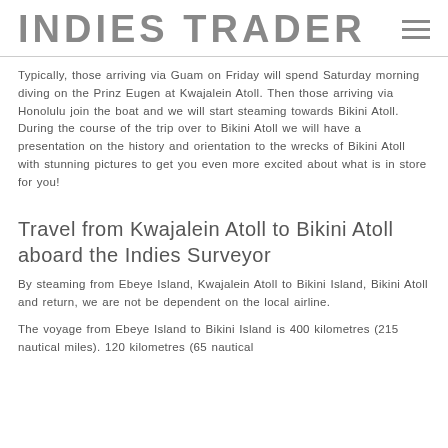INDIES TRADER
Typically, those arriving via Guam on Friday will spend Saturday morning diving on the Prinz Eugen at Kwajalein Atoll. Then those arriving via Honolulu join the boat and we will start steaming towards Bikini Atoll. During the course of the trip over to Bikini Atoll we will have a presentation on the history and orientation to the wrecks of Bikini Atoll with stunning pictures to get you even more excited about what is in store for you!
Travel from Kwajalein Atoll to Bikini Atoll aboard the Indies Surveyor
By steaming from Ebeye Island, Kwajalein Atoll to Bikini Island, Bikini Atoll and return, we are not be dependent on the local airline.
The voyage from Ebeye Island to Bikini Island is 400 kilometres (215 nautical miles). 120 kilometres (65 nautical